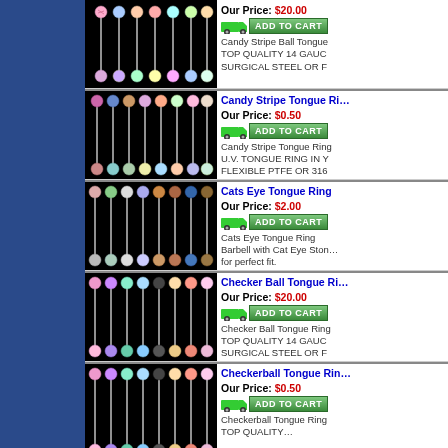[Figure (photo): Candy Stripe Ball Tongue Ring product image - multiple colored striped barbells on black background]
Our Price: $20.00
ADD TO CART
Candy Stripe Ball Tongue - TOP QUALITY 14 GAUGE SURGICAL STEEL OR F
[Figure (photo): Candy Stripe Tongue Ring product image - multiple colored striped barbells on black background]
Candy Stripe Tongue Ring
Our Price: $0.50
ADD TO CART
Candy Stripe Tongue Ring - U.V. TONGUE RING IN Y FLEXIBLE PTFE OR 316 BAR more info
[Figure (photo): Cats Eye Tongue Ring product image - multiple colored barbells on black background]
Cats Eye Tongue Ring
Our Price: $2.00
ADD TO CART
Cats Eye Tongue Ring Barbell with Cat Eye Stone for perfect fit. 14G 316L 5/8" more info
[Figure (photo): Checker Ball Tongue Ring product image - multiple colored barbells on black background]
Checker Ball Tongue Ring
Our Price: $20.00
ADD TO CART
Checker Ball Tongue Ring - TOP QUALITY 14 GAUGE SURGICAL STEEL OR F
[Figure (photo): Checkerball Tongue Ring product image - multiple colored barbells on black background]
Checkerball Tongue Ring
Our Price: $0.50
ADD TO CART
Checkerball Tongue Ring - TOP QUALITY...